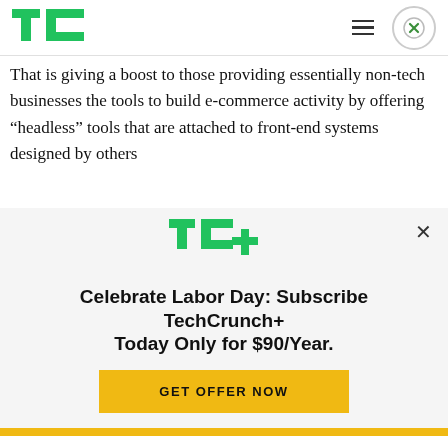TechCrunch header with logo, hamburger menu, and close button
That is giving a boost to those providing essentially non-tech businesses the tools to build e-commerce activity by offering “headless” tools that are attached to front-end systems designed by others
[Figure (other): TechCrunch+ subscription modal overlay with TC+ logo, headline 'Celebrate Labor Day: Subscribe TechCrunch+ Today Only for $90/Year.' and a yellow 'GET OFFER NOW' button]
Commercetools, in contrast, focuses more on companies that typically generate revenues in excess of $100 million annually, Hoerig said.